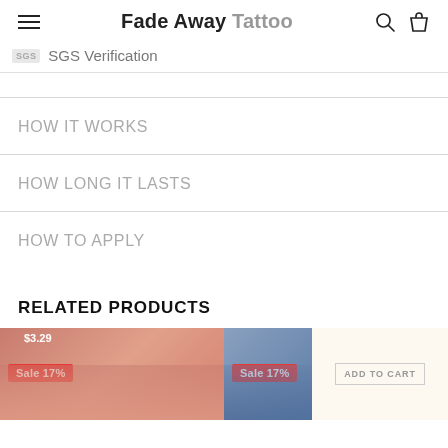Fade Away Tattoo
SGS Verification
HOW IT WORKS
HOW LONG IT LASTS
HOW TO APPLY
RELATED PRODUCTS
Sale 17%
Sale 17%
ADD TO CART